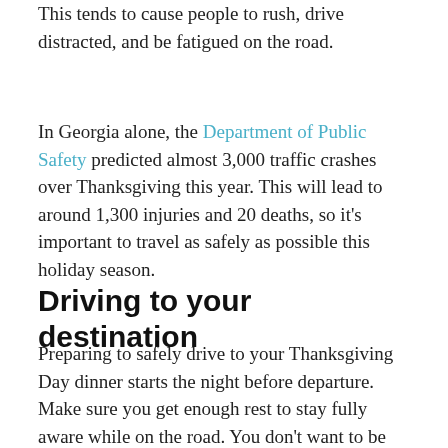This tends to cause people to rush, drive distracted, and be fatigued on the road.
In Georgia alone, the Department of Public Safety predicted almost 3,000 traffic crashes over Thanksgiving this year. This will lead to around 1,300 injuries and 20 deaths, so it’s important to travel as safely as possible this holiday season.
Driving to your destination
Preparing to safely drive to your Thanksgiving Day dinner starts the night before departure. Make sure you get enough rest to stay fully aware while on the road. You don’t want to be impaired in any way